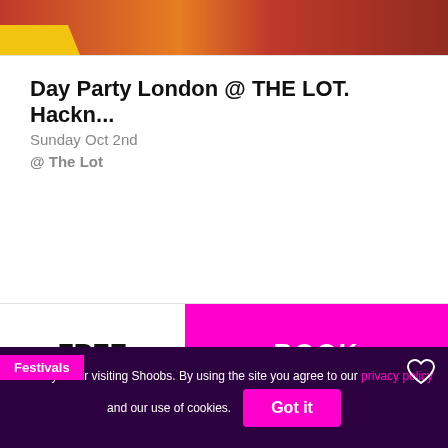[Figure (photo): Top portion of an event card showing a party/festival photo with warm red/orange tones and a yellow triangle element at bottom left]
Day Party London @ THE LOT. Hackn...
Sunday Oct 2nd
@ The Lot
FREE
BOOK
[Figure (photo): Halloween Festival event card with dark horror-themed background showing 'HALLOWEEN FESTIVAL' text in dripping white letters and a woman in Halloween costume on the right side]
Festivals
Thank you for visiting Shoobs. By using the site you agree to our privacy policy and our use of cookies. Got it